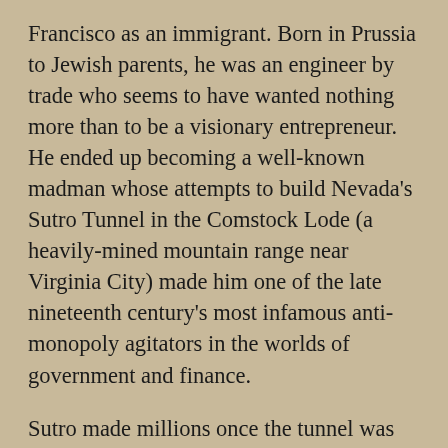Francisco as an immigrant. Born in Prussia to Jewish parents, he was an engineer by trade who seems to have wanted nothing more than to be a visionary entrepreneur. He ended up becoming a well-known madman whose attempts to build Nevada's Sutro Tunnel in the Comstock Lode (a heavily-mined mountain range near Virginia City) made him one of the late nineteenth century's most infamous anti-monopoly agitators in the worlds of government and finance.
Sutro made millions once the tunnel was finished and he sold his share in the Sutro Tunnel Company, but it was his struggle to complete the project--often referred to in the press as Sutro's Folly -- that convinced him the Octopus must be destroyed. The Sutro Tunnel was supposed to